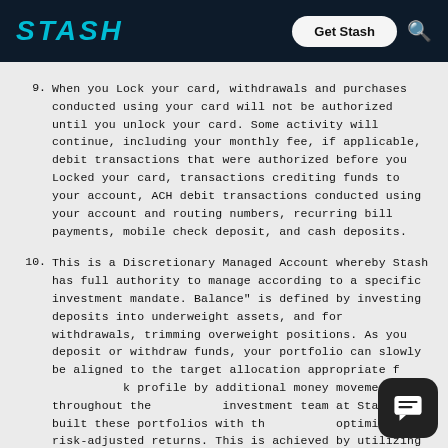STASH  Get Stash
9. When you Lock your card, withdrawals and purchases conducted using your card will not be authorized until you unlock your card. Some activity will continue, including your monthly fee, if applicable, debit transactions that were authorized before you Locked your card, transactions crediting funds to your account, ACH debit transactions conducted using your account and routing numbers, recurring bill payments, mobile check deposit, and cash deposits.
10. This is a Discretionary Managed Account whereby Stash has full authority to manage according to a specific investment mandate. Balance" is defined by investing deposits into underweight assets, and for withdrawals, trimming overweight positions. As you deposit or withdraw funds, your portfolio can slowly be aligned to the target allocation appropriate for your risk profile by additional money movements throughout the year. The investment team at Stash built these portfolios with the goal of optimizing risk-adjusted returns. This is achieved by utilizing the